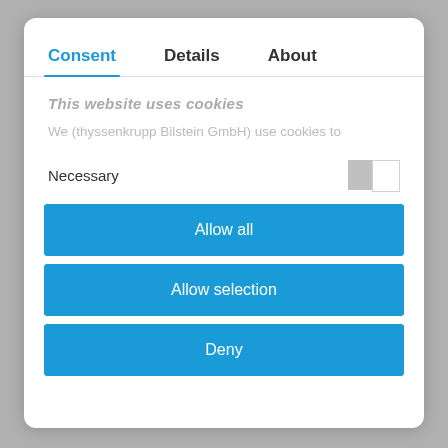Consent | Details | About
This website uses cookies
We (thyssenkrupp Bilstein GmbH) use cookies to
Necessary
Allow all
Allow selection
Deny